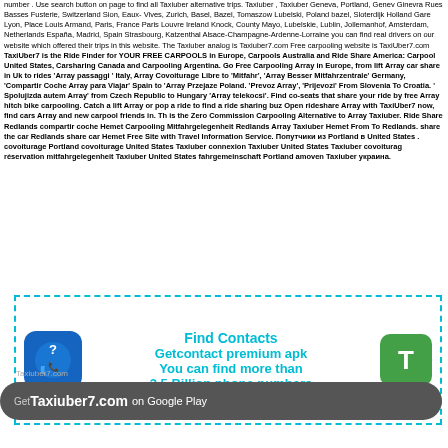number . Use search button on page to find all Taxiuber alternative trips. Taxiuber , Taxiuber Geneva, Portland, Genev Ginevra Rues Basses Fusterie, Switzerland Sion, Eaux-Vives, Zurich, Basel, Bazel, Tomaszow Lubelski, Poland bazel, Sloterdijk Holland Gare Lyon, Place Louis Armand, Paris, France Paris Louvre Ireland Knock, County Mayo, Lubelskie, Lublin, Jollemanhof, Amsterdam, Netherlands España, Madrid, Spain Strasbourg, Katzenthal Alsace-Champagne-Ardenne-Lorraine you can find real drivers on our website which offered their trips in this website. The Taxiuber analog is Taxiuber7.com Free carpooling website is TaxiUber7.com TaxiUber7 is the Ride Finder for YOUR FREE CARPOOLS in Europe, Carpools Australia and Ride Share America: Carpool United States, Carsharing Canada and Carpooling Argentina. Go Free Carpooling Array in Europe, from lift Array car share in Uk to rides 'Array passaggi ' Italy, Array Covoiturage Libre to 'Mitfahr', 'Array Besser Mitfahrzentrale' Germany, 'Compartir Coche Array para Viajar' Spain to 'Array Przejaze Poland. 'Prevoz Array', 'Prijevozi' From Slovenia To Croatia. ' Spolujizda autem Array' from Czech Republic to Hungary 'Array telekocsi'. Find co-seats that share your ride by free Array hitch bike carpooling. Catch a lift Array or pop a ride to find a ride sharing buz Open rideshare Array with TaxiUber7 now, find cars Array and new carpool friends in. Th is the Zero Commission Carpooling Alternative to Array Taxiuber. Ride Share Redlands compartir coche Hemet Carpooling Mitfahrgelegenheit Redlands Array Taxiuber Hemet From To Redlands. share the car Redlands share car Hemet Free Site with Travel Information Service. Попутчики из Portland в United States . covoiturage Portland covoiturage United States Taxiuber connexion Taxiuber United States Taxiuber covoiturag réservation mitfahrgelegenheit Taxiuber United States fahrgemeinschaft Portland amoven Taxiuber украина.
[Figure (infographic): Advertisement box with dashed cyan border. Contains a blue phone/question-mark app icon on the left, centered cyan bold text reading 'Find Contacts / Getcontact premium apk / You can find more than / 3.5 Billion phone numbers', and a green rounded-square T button on the right.]
[Figure (infographic): Dark grey rounded pill bar at bottom reading 'Get Taxiuber7.com on Google Play']